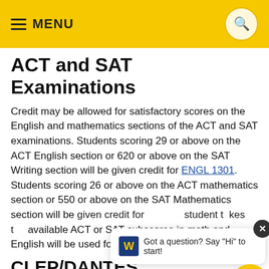≡ MENU
ACT and SAT Examinations
Credit may be allowed for satisfactory scores on the English and mathematics sections of the ACT and SAT examinations. Students scoring 29 or above on the ACT English section or 620 or above on the SAT Writing section will be given credit for ENGL 1301. Students scoring 26 or above on the ACT mathematics section or 550 or above on the SAT Mathematics section will be given credit for math. If a student takes the ACT or SAT more than once, the highest available ACT or SAT subscores in math and English will be used for credit decisions.
CLEP/DANTES Examinations